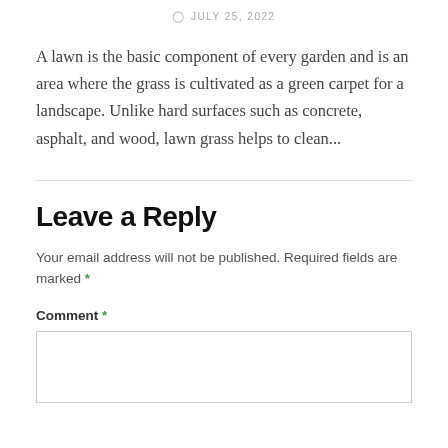JULY 25, 2022
A lawn is the basic component of every garden and is an area where the grass is cultivated as a green carpet for a landscape. Unlike hard surfaces such as concrete, asphalt, and wood, lawn grass helps to clean...
Leave a Reply
Your email address will not be published. Required fields are marked *
Comment *